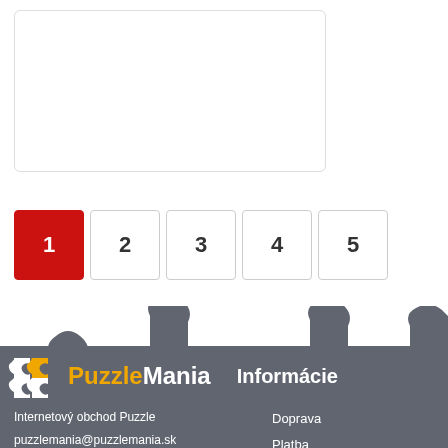[Figure (other): Product listing box with rounded border (empty/white)]
1
2
3
4
5
[Figure (illustration): Footer background with grey puzzle piece silhouette pattern across the top]
[Figure (logo): PuzzleMania logo: puzzle piece icon with Puzzle in orange and Mania in white]
Informácie
Internetový obchod Puzzle
puzzlemania@puzzlemania.sk
www.puzzlemania.sk
Doprava
Platba
O nás
Reklamácie